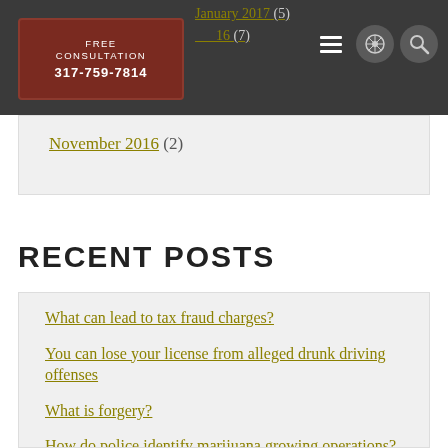FREE CONSULTATION 317-759-7814
January 2017 (5)
December 2016 (7)
November 2016 (2)
RECENT POSTS
What can lead to tax fraud charges?
You can lose your license from alleged drunk driving offenses
What is forgery?
How do police identify marijuana growing operations?
Police may search your car's